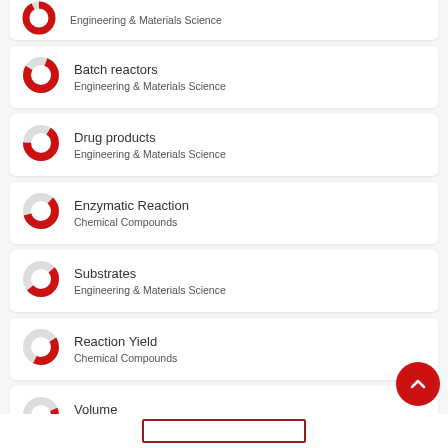Engineering & Materials Science
Batch reactors
Engineering & Materials Science
Drug products
Engineering & Materials Science
Enzymatic Reaction
Chemical Compounds
Substrates
Engineering & Materials Science
Reaction Yield
Chemical Compounds
Volume
Chemical Compounds